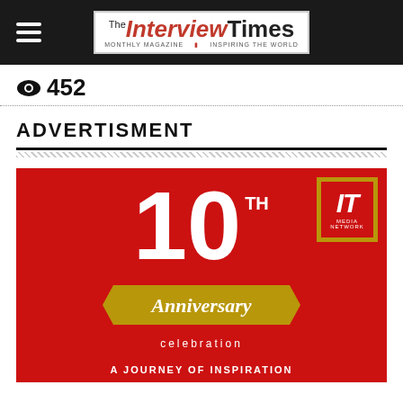The Interview Times
452 views
ADVERTISMENT
[Figure (illustration): 10th Anniversary Celebration advertisement for IT Media Network. Red background with large white '10 TH' text, gold ribbon with 'Anniversary' in italic script, 'celebration' text below, and 'A JOURNEY OF INSPIRATION' at the bottom. IT Media Network logo box in top right corner.]